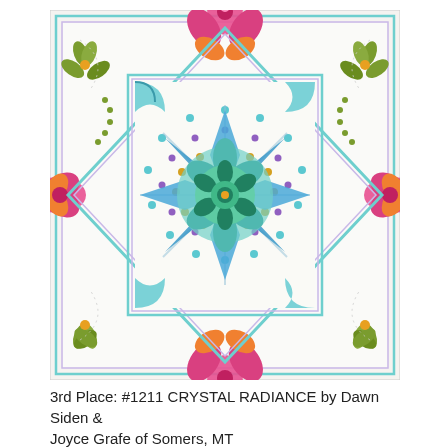[Figure (illustration): A colorful mandala-style quilt called CRYSTAL RADIANCE. The quilt features a white background with a large eight-pointed star design in the center made up of blue, teal, and purple geometric shapes. The center has a detailed floral mandala with green, teal, blue, and gold gem-like dots radiating outward. The corners of the inner square feature blue decorative motifs. The outer border of the quilt has pink and magenta floral/tulip designs at the top, bottom, left, and right, with olive-green flower clusters in the four outer corners. The overall design is intricate with dot-work quilting throughout.]
3rd Place:   #1211  CRYSTAL RADIANCE by Dawn Siden & Joyce Grafe of Somers, MT